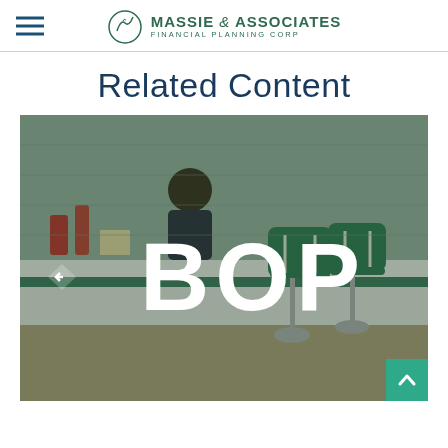MASSIE & ASSOCIATES FINANCIAL PLANNING CORP
Related Content
[Figure (photo): Diner scene with green retro stools and counter, with large white bold text 'BOP' overlaid in the center of the image. A left arrow navigation button and a green scroll-to-top button are visible.]